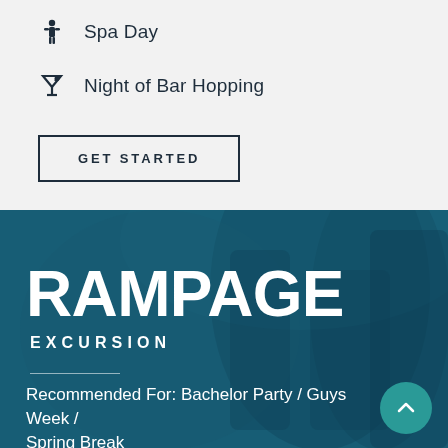Spa Day
Night of Bar Hopping
GET STARTED
RAMPAGE
EXCURSION
Recommended For: Bachelor Party / Guys Week / Spring Break